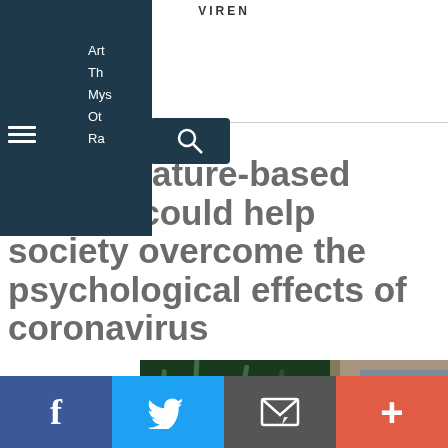VIREN
[Figure (screenshot): Navigation overlay menu on dark blue background showing partial menu text: Art, Th, Mys, Ot, Ra with hamburger menu icon and search icon]
radical nature-based agenda could help society overcome the psychological effects of coronavirus
[Figure (photo): Person lying in grass with yellow wildflowers, wearing denim overalls, tattoo visible on arm. Scroll-up button overlay visible.]
[Figure (screenshot): Social sharing bar at bottom with Facebook (blue), Twitter (light blue), Email (dark gray), and More/Plus (red-orange) buttons]